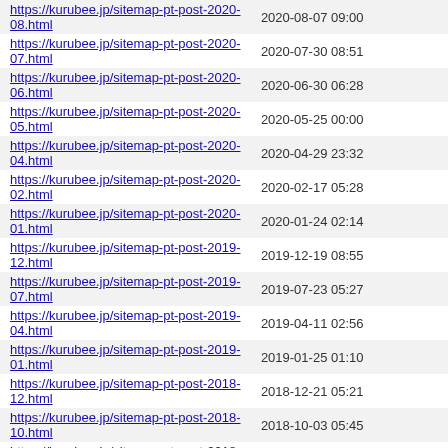| URL | Date |
| --- | --- |
| https://kurubee.jp/sitemap-pt-post-2020-08.html | 2020-08-07 09:00 |
| https://kurubee.jp/sitemap-pt-post-2020-07.html | 2020-07-30 08:51 |
| https://kurubee.jp/sitemap-pt-post-2020-06.html | 2020-06-30 06:28 |
| https://kurubee.jp/sitemap-pt-post-2020-05.html | 2020-05-25 00:00 |
| https://kurubee.jp/sitemap-pt-post-2020-04.html | 2020-04-29 23:32 |
| https://kurubee.jp/sitemap-pt-post-2020-02.html | 2020-02-17 05:28 |
| https://kurubee.jp/sitemap-pt-post-2020-01.html | 2020-01-24 02:14 |
| https://kurubee.jp/sitemap-pt-post-2019-12.html | 2019-12-19 08:55 |
| https://kurubee.jp/sitemap-pt-post-2019-07.html | 2019-07-23 05:27 |
| https://kurubee.jp/sitemap-pt-post-2019-04.html | 2019-04-11 02:56 |
| https://kurubee.jp/sitemap-pt-post-2019-01.html | 2019-01-25 01:10 |
| https://kurubee.jp/sitemap-pt-post-2018-12.html | 2018-12-21 05:21 |
| https://kurubee.jp/sitemap-pt-post-2018-10.html | 2018-10-03 05:45 |
| https://kurubee.jp/sitemap-pt-post-2018-08.html | 2018-08-10 04:55 |
| https://kurubee.jp/sitemap-pt-post-2018-07.html | 2018-07-17 06:18 |
| https://kurubee.jp/sitemap-pt-post-2018-05.html | 2018-05-25 00:42 |
| https://kurubee.jp/sitemap-pt-post-2017-11.html | 2017-11-15 04:22 |
| https://kurubee.jp/sitemap-pt-post-2017-10.html | 2017-10-23 09:05 |
| https://kurubee.jp/sitemap-pt-post-2017-08.html | 2017-08-24 07:06 |